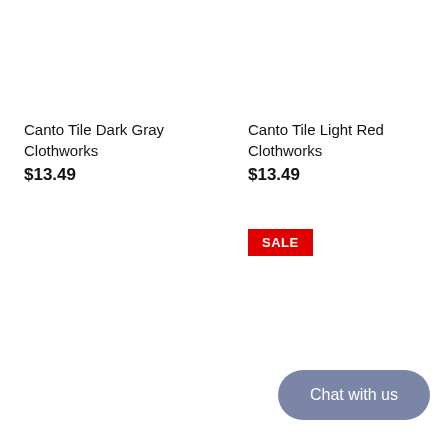Canto Tile Dark Gray
Clothworks
$13.49
Canto Tile Light Red
Clothworks
$13.49
SALE
Chat with us